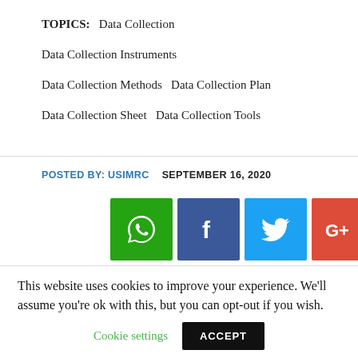TOPICS:   Data Collection
Data Collection Instruments
Data Collection Methods    Data Collection Plan
Data Collection Sheet    Data Collection Tools
POSTED BY: USIMRC    SEPTEMBER 16, 2020
[Figure (infographic): Four social media share buttons: WhatsApp (green), Facebook (dark blue), Twitter (light blue), Google+ (red)]
[ad_1]
This website uses cookies to improve your experience. We'll assume you're ok with this, but you can opt-out if you wish.
Cookie settings    ACCEPT